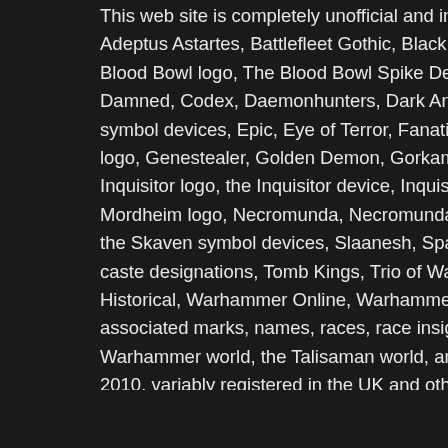This web site is completely unofficial and in no way end... Adeptus Astartes, Battlefleet Gothic, Black Flame, Black... Blood Bowl logo, The Blood Bowl Spike Device, Cadian... Damned, Codex, Daemonhunters, Dark Angels, Dark E... symbol devices, Epic, Eye of Terror, Fanatic, the Fanati... logo, Genestealer, Golden Demon, Gorkamorka, Great... Inquisitor logo, the Inquisitor device, Inquisitor:Conspira... Mordheim logo, Necromunda, Necromunda stencil logo... the Skaven symbol devices, Slaanesh, Space Hulk, Spa... caste designations, Tomb Kings, Trio of Warriors, Twin T... Historical, Warhammer Online, Warhammer 40k Device... associated marks, names, races, race insignia, charact... Warhammer world, the Talisaman world, and the Warha... 2010, variably registered in the UK and other countries... Reserved to their respective owners.